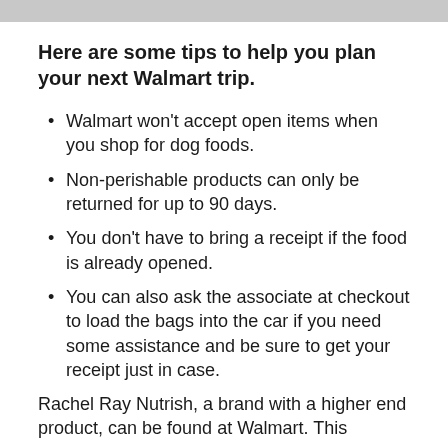Here are some tips to help you plan your next Walmart trip.
Walmart won't accept open items when you shop for dog foods.
Non-perishable products can only be returned for up to 90 days.
You don't have to bring a receipt if the food is already opened.
You can also ask the associate at checkout to load the bags into the car if you need some assistance and be sure to get your receipt just in case.
Rachel Ray Nutrish, a brand with a higher end product, can be found at Walmart. This